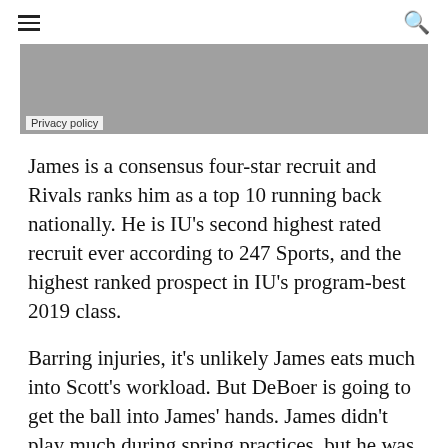≡  🔍
[Figure (other): Gray advertisement banner with Privacy policy label]
James is a consensus four-star recruit and Rivals ranks him as a top 10 running back nationally. He is IU's second highest rated recruit ever according to 247 Sports, and the highest ranked prospect in IU's program-best 2019 class.
Barring injuries, it's unlikely James eats much into Scott's workload. But DeBoer is going to get the ball into James' hands. James didn't play much during spring practices, but he was able to take part in spring and summertime work with strength coach David Ballou.